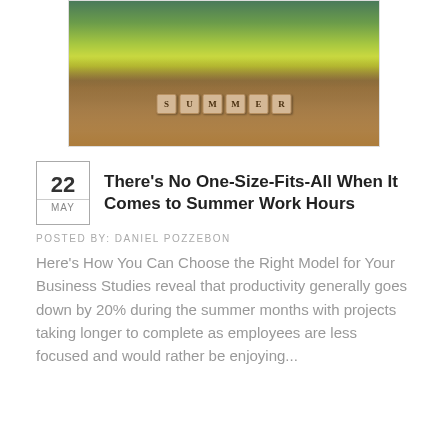[Figure (photo): Scrabble tiles spelling SUMMER placed on sandy/rocky ground with yellow flowers in the blurred background]
There's No One-Size-Fits-All When It Comes to Summer Work Hours
POSTED BY: DANIEL POZZEBON
Here's How You Can Choose the Right Model for Your Business Studies reveal that productivity generally goes down by 20% during the summer months with projects taking longer to complete as employees are less focused and would rather be enjoying...